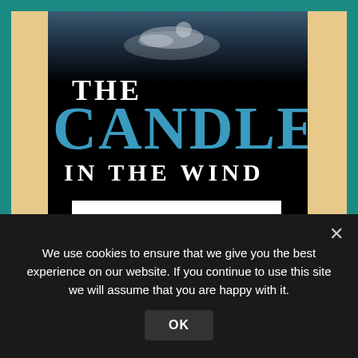[Figure (illustration): Book cover for 'The Candle in the Wind' by De-Raconteur. Dark background with a figure floating on water at the top. Title text in white (THE) and blue (CANDLE) serif font. 'IN THE WIND' in white bold serif. Publisher/author name 'DE-RACONTEUR' in blue bold serif in a white rectangular box at the bottom of the cover.]
We use cookies to ensure that we give you the best experience on our website. If you continue to use this site we will assume that you are happy with it.
OK